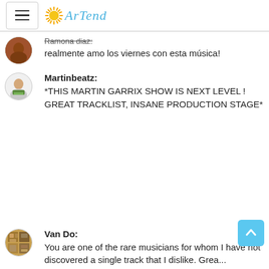ArTend
Ramona diaz: realmente amo los viernes con esta música!
Martinbeatz: *THIS MARTIN GARRIX SHOW IS NEXT LEVEL ! GREAT TRACKLIST, INSANE PRODUCTION STAGE*
Van Do: You are one of the rare musicians for whom I have not discovered a single track that I dislike. Grea...